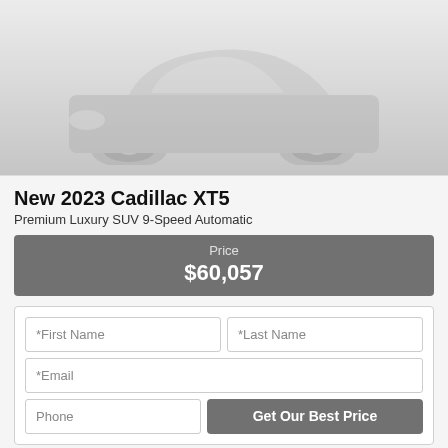[Figure (photo): Partial view of a gray Cadillac XT5 SUV, showing the front wheel and lower body against a light gray background.]
New 2023 Cadillac XT5
Premium Luxury SUV 9-Speed Automatic
Price
$60,057
*First Name	*Last Name
*Email
Phone	Get Our Best Price
WOLFE CADILLAC CALGARY
Your web browser (iOS 11) is out of date.
Update your browser for more security, speed and the best experience on this site.
Update browser   Ignore